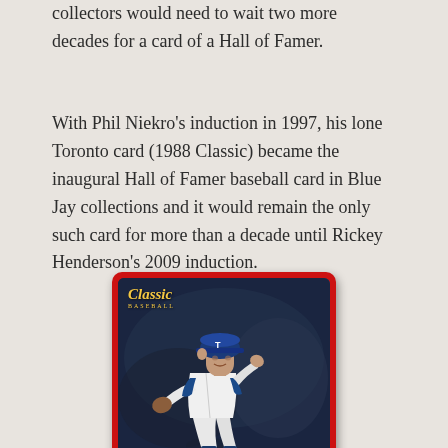collectors would need to wait two more decades for a card of a Hall of Famer.
With Phil Niekro's induction in 1997, his lone Toronto card (1988 Classic) became the inaugural Hall of Famer baseball card in Blue Jay collections and it would remain the only such card for more than a decade until Rickey Henderson's 2009 induction.
[Figure (photo): A 1988 Classic Baseball card featuring Phil Niekro in a Toronto Blue Jays uniform, mid-pitching motion. The card has a red border with a dark navy inner border, the Classic Baseball logo in gold script in the top left corner, and a photograph of the player wearing a white Blue Jays jersey and blue cap.]